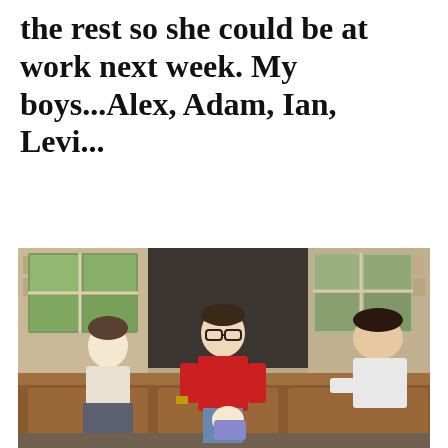the rest so she could be at work next week. My boys...Alex, Adam, Ian, Levi...
[Figure (photo): Four boys including a teenager in red shirt holding a baby, seated on leather furniture in front of a stone fireplace. Another boy sitting to the left, and a teenage boy on the right.]